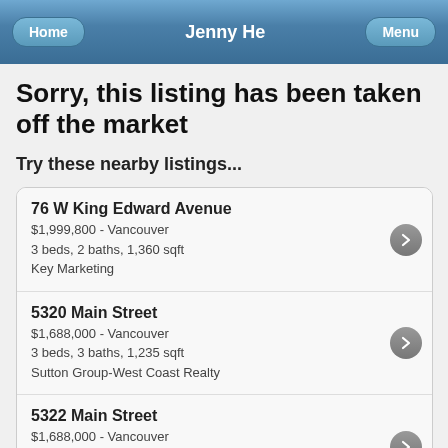Jenny He
Sorry, this listing has been taken off the market
Try these nearby listings...
76 W King Edward Avenue — $1,999,800 - Vancouver, 3 beds, 2 baths, 1,360 sqft, Key Marketing
5320 Main Street — $1,688,000 - Vancouver, 3 beds, 3 baths, 1,235 sqft, Sutton Group-West Coast Realty
5322 Main Street — $1,688,000 - Vancouver, 3 beds, 3 baths, 1,235 sqft, Sutton Group-West Coast Realty